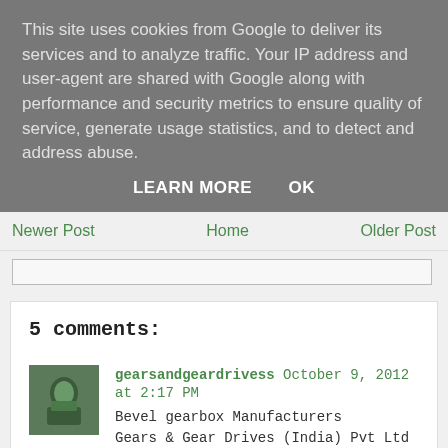This site uses cookies from Google to deliver its services and to analyze traffic. Your IP address and user-agent are shared with Google along with performance and security metrics to ensure quality of service, generate usage statistics, and to detect and address abuse.
LEARN MORE   OK
Newer Post   Home   Older Post
5 comments:
gearsandgeardrivess October 9, 2012 at 2:17 PM
Bevel gearbox Manufacturers
Gears & Gear Drives (India) Pvt Ltd is an